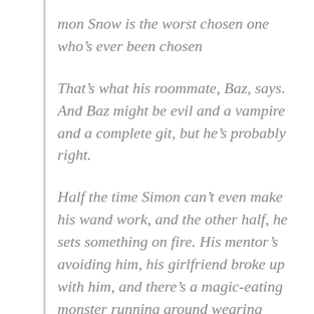mon Snow is the worst chosen one who's ever been chosen
That's what his roommate, Baz, says. And Baz might be evil and a vampire and a complete git, but he's probably right.
Half the time Simon can't even make his wand work, and the other half, he sets something on fire. His mentor's avoiding him, his girlfriend broke up with him, and there's a magic-eating monster running around wearing Simon's face. Baz would be having a field day with all this, if he were here – it's their last year at Watford School of Magicks…